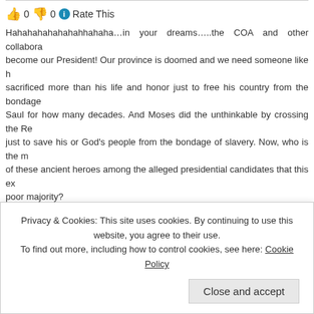👍 0 👎 0 ℹ Rate This
Hahahahahahahahhahaha…in your dreams…..the COA and other collabora… become our President! Our province is doomed and we need someone like h… sacrificed more than his life and honor just to free his country from the bondage… Saul for how many decades. And Moses did the unthinkable by crossing the Re… just to save his or God's people from the bondage of slavery. Now, who is the m… of these ancient heroes among the alleged presidential candidates that this ex… poor majority?
POSTED BY DAMASO | MARCH 20, 2015, 5:38 PM
REPLY TO THIS COMMENT
👍 0 👎 0 ℹ Rate This
Tagamasid moses n israeli did not cross the red sea as u have shown in th… rm…
Privacy & Cookies: This site uses cookies. By continuing to use this website, you agree to their use. To find out more, including how to control cookies, see here: Cookie Policy
Close and accept
👍 0 👎 0 ℹ Rate This